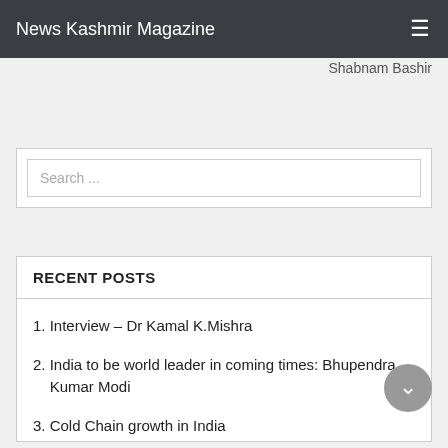News Kashmir Magazine
Shabnam Bashir
Search ...
RECENT POSTS
1. Interview – Dr Kamal K.Mishra
2. India to be world leader in coming times: Bhupendra Kumar Modi
3. Cold Chain growth in India